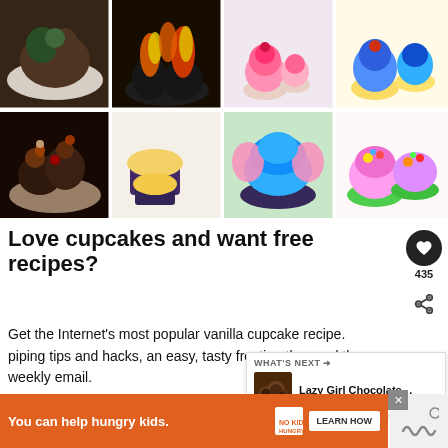[Figure (photo): A 4x2 grid of colorful cupcake photos: top row shows a dark chocolate/green frosting cupcake, fire-themed cupcakes, pink frosted cupcakes with cherries, and blue/yellow frosted cupcakes; bottom row shows chocolate cupcakes with decorations, plain yellow cupcakes in dark liners, a blue elephant-themed cupcake, and colorful sprinkle-topped cupcakes in green liners]
Love cupcakes and want free recipes?
Get the Internet's most popular vanilla cupcake recipe. piping tips and hacks, an easy, tasty frosting th... and the weekly email.
[Figure (screenshot): WHAT'S NEXT arrow label with thumbnail of chocolate truffles and text 'Lazy Girl Chocolate...']
[Figure (infographic): Orange advertisement banner: 'You can help hungry kids.' with No Kid Hungry logo and LEARN HOW button]